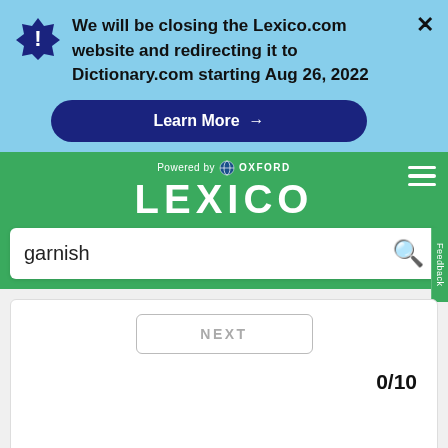We will be closing the Lexico.com website and redirecting it to Dictionary.com starting Aug 26, 2022
Learn More →
[Figure (screenshot): Lexico powered by Oxford logo on green header with hamburger menu]
garnish
NEXT
0/10
[Figure (infographic): Advertisement: Back To School Shopping Deals - Leesburg Premium Outlets]